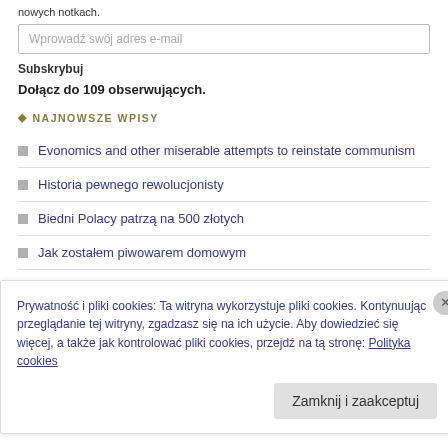nowych notkach.
Wprowadź swój adres e-mail
Subskrybuj
Dołącz do 109 obserwujących.
NAJNOWSZE WPISY
Evonomics and other miserable attempts to reinstate communism
Historia pewnego rewolucjonisty
Biedni Polacy patrzą na 500 złotych
Jak zostałem piwowarem domowym
MdM: jak zniszczyć dobry program
Prywatność i pliki cookies: Ta witryna wykorzystuje pliki cookies. Kontynuując przeglądanie tej witryny, zgadzasz się na ich użycie. Aby dowiedzieć się więcej, a także jak kontrolować pliki cookies, przejdź na tą stronę: Polityka cookies
Zamknij i zaakceptuj